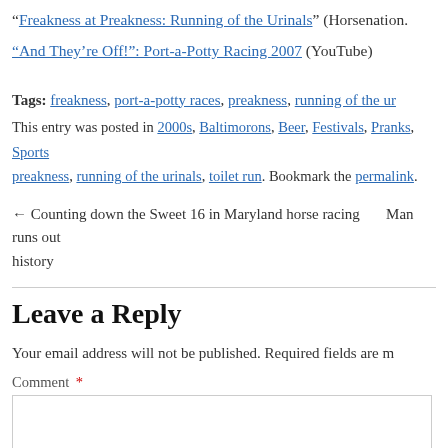“Freakness at Preakness: Running of the Urinals” (Horsenation.
“And They’re Off!”: Port-a-Potty Racing 2007 (YouTube)
Tags: freakness, port-a-potty races, preakness, running of the ur
This entry was posted in 2000s, Baltimorons, Beer, Festivals, Pranks, Sports preakness, running of the urinals, toilet run. Bookmark the permalink.
← Counting down the Sweet 16 in Maryland horse racing history    Man runs out
Leave a Reply
Your email address will not be published. Required fields are m
Comment *